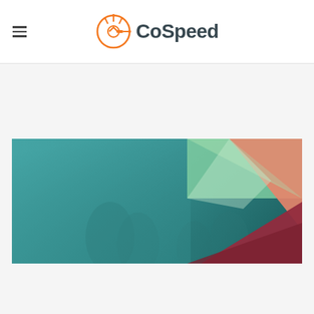CoSpeed
[Figure (illustration): Abstract geometric design with overlapping triangular shapes in teal/blue, green, salmon/orange, and dark red colors on a gradient teal background]